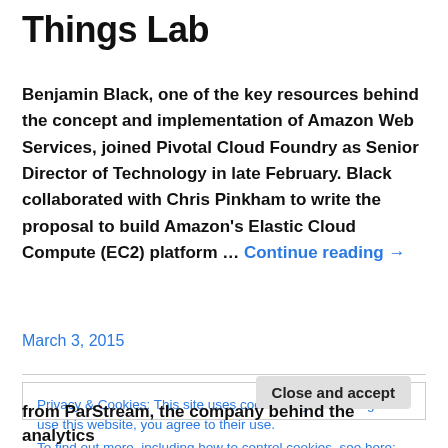Things Lab
Benjamin Black, one of the key resources behind the concept and implementation of Amazon Web Services, joined Pivotal Cloud Foundry as Senior Director of Technology in late February. Black collaborated with Chris Pinkham to write the proposal to build Amazon's Elastic Cloud Compute (EC2) platform … Continue reading →
March 3, 2015
Privacy & Cookies: This site uses cookies. By continuing to use this website, you agree to their use.
To find out more, including how to control cookies, see here: Cookie Policy
Close and accept
from ParStream, the company behind the analytics